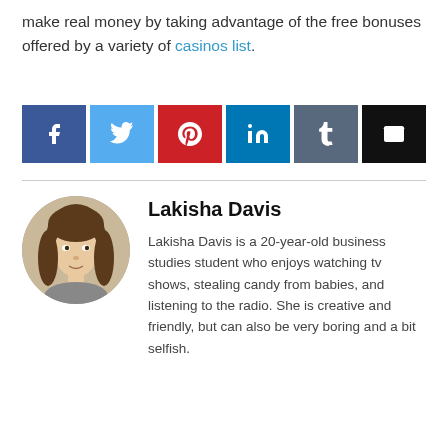make real money by taking advantage of the free bonuses offered by a variety of casinos list.
[Figure (infographic): Social sharing buttons row: Facebook (blue), Twitter (light blue), Pinterest (red), LinkedIn (teal/dark blue), Tumblr (grey-blue), Email (black)]
Lakisha Davis
[Figure (photo): Circular profile photo of Lakisha Davis, a young woman with long brown hair]
Lakisha Davis is a 20-year-old business studies student who enjoys watching tv shows, stealing candy from babies, and listening to the radio. She is creative and friendly, but can also be very boring and a bit selfish.